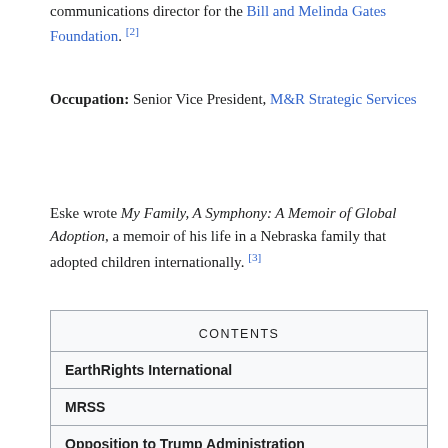communications director for the Bill and Melinda Gates Foundation. [2]
Occupation: Senior Vice President, M&R Strategic Services
Eske wrote My Family, A Symphony: A Memoir of Global Adoption, a memoir of his life in a Nebraska family that adopted children internationally. [3]
| CONTENTS |
| --- |
| EarthRights International |
| MRSS |
| Opposition to Trump Administration |
| Double Issue |